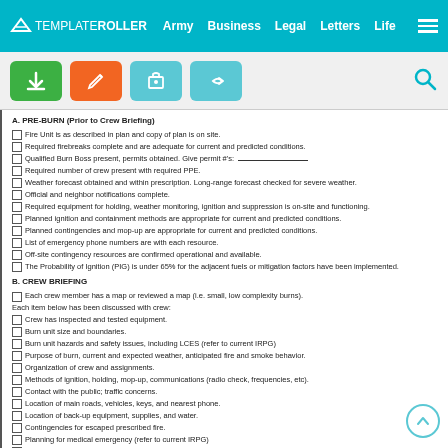TEMPLATEROLLER Army Business Legal Letters Life
A. PRE-BURN (Prior to Crew Briefing)
Fire Unit is as described in plan and copy of plan is on site.
Required firebreaks complete and are adequate for current and predicted conditions.
Qualified Burn Boss present, permits obtained. Give permit #'s:
Required number of crew present with required PPE.
Weather forecast obtained and within prescription. Long-range forecast checked for severe weather.
Official and neighbor notifications complete.
Required equipment for holding, weather monitoring, ignition and suppression is on-site and functioning.
Planned ignition and containment methods are appropriate for current and predicted conditions.
Planned contingencies and mop-up are appropriate for current and predicted conditions.
List of emergency phone numbers are with each resource.
Off-site contingency resources are confirmed operational and available.
The Probability of Ignition (PIG) is under 65% for the adjacent fuels or mitigation factors have been implemented.
B. CREW BRIEFING
Each crew member has a map or reviewed a map (i.e. small, low complexity burns).
Each item below has been discussed with crew:
Crew has inspected and tested equipment.
Burn unit size and boundaries.
Burn unit hazards and safety issues, including LCES (refer to current IRPG)
Purpose of burn, current and expected weather, anticipated fire and smoke behavior.
Organization of crew and assignments.
Methods of ignition, holding, mop-up, communications (radio check, frequencies, etc).
Contact with the public; traffic concerns.
Location of main roads, vehicles, keys, and nearest phone.
Location of back-up equipment, supplies, and water.
Contingencies for escaped prescribed fire.
Planning for medical emergency (refer to current IRPG)
Wildland Urban interface concerns.
Answer questions from crew.
Ask crew if they wish to "turn down" an assignment or participation in the burn (refer to current IRPG)
C. TEST FIRE